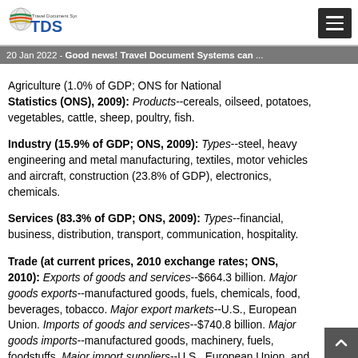Travel Document Systems TDS logo and navigation
20 Jan 2022 - Good news! Travel Document Systems can ...
Agriculture (1.0% of GDP; ONS for National Statistics (ONS), 2009): Products--cereals, oilseed, potatoes, vegetables, cattle, sheep, poultry, fish. Industry (15.9% of GDP; ONS, 2009): Types--steel, heavy engineering and metal manufacturing, textiles, motor vehicles and aircraft, construction (23.8% of GDP), electronics, chemicals. Services (83.3% of GDP; ONS, 2009): Types--financial, business, distribution, transport, communication, hospitality. Trade (at current prices, 2010 exchange rates; ONS, 2010): Exports of goods and services--$664.3 billion. Major goods exports--manufactured goods, fuels, chemicals, food, beverages, tobacco. Major export markets--U.S., European Union. Imports of goods and services--$740.8 billion. Major goods imports--manufactured goods, machinery, fuels, foodstuffs. Major import suppliers--U.S., European Union, and China.